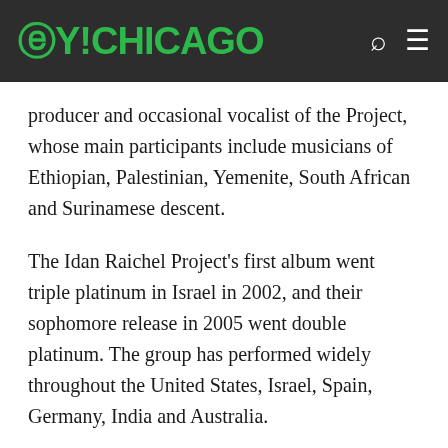OY!CHICAGO
producer and occasional vocalist of the Project, whose main participants include musicians of Ethiopian, Palestinian, Yemenite, South African and Surinamese descent.
The Idan Raichel Project's first album went triple platinum in Israel in 2002, and their sophomore release in 2005 went double platinum. The group has performed widely throughout the United States, Israel, Spain, Germany, India and Australia.
The Idan Raichel Project is coming to Chicago in celebration of Israel Solidarity Day, Sunday, May 4, at McCormick Place. Oy!Chicago caught up with Raichel